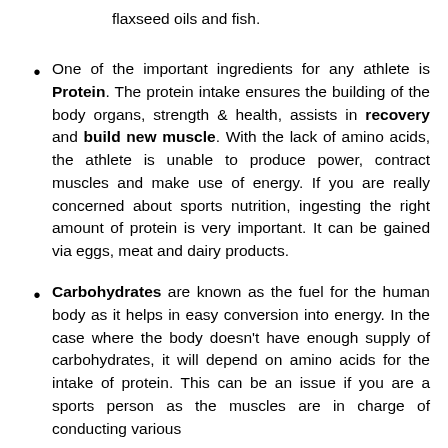flaxseed oils and fish.
One of the important ingredients for any athlete is Protein. The protein intake ensures the building of the body organs, strength & health, assists in recovery and build new muscle. With the lack of amino acids, the athlete is unable to produce power, contract muscles and make use of energy. If you are really concerned about sports nutrition, ingesting the right amount of protein is very important. It can be gained via eggs, meat and dairy products.
Carbohydrates are known as the fuel for the human body as it helps in easy conversion into energy. In the case where the body doesn't have enough supply of carbohydrates, it will depend on amino acids for the intake of protein. This can be an issue if you are a sports person as the muscles are in charge of conducting various